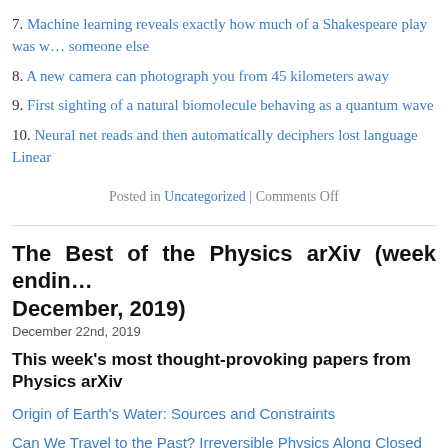7. Machine learning reveals exactly how much of a Shakespeare play was written by someone else
8. A new camera can photograph you from 45 kilometers away
9. First sighting of a natural biomolecule behaving as a quantum wave
10. Neural net reads and then automatically deciphers lost language Linear
Posted in Uncategorized | Comments Off
The Best of the Physics arXiv (week ending December, 2019)
December 22nd, 2019
This week's most thought-provoking papers from the Physics arXiv
Origin of Earth's Water: Sources and Constraints
Can We Travel to the Past? Irreversible Physics Along Closed Timelike Curv…
Tools for Mathematical Ludology
Applications of Near-Term Photonic Quantum Computers: Software and Algo…